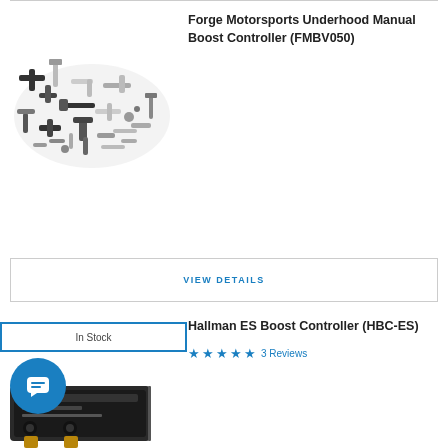Forge Motorsports Underhood Manual Boost Controller (FMBV050)
[Figure (photo): Pile of metal boost controller fittings and adapters, black and silver, scattered together]
VIEW DETAILS
In Stock
Hallman ES Boost Controller (HBC-ES)
★★★★★ 3 Reviews
[Figure (photo): Hallman ES boost controller product, dark colored device shown partially]